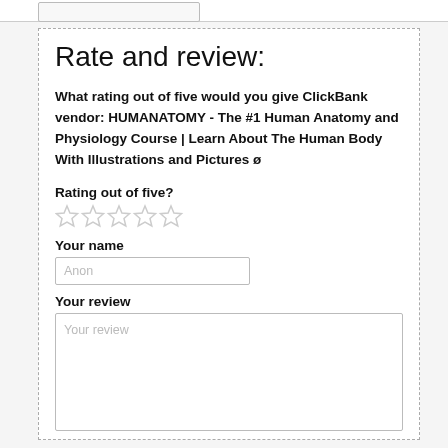Rate and review:
What rating out of five would you give ClickBank vendor: HUMANATOMY - The #1 Human Anatomy and Physiology Course | Learn About The Human Body With Illustrations and Pictures ø
Rating out of five?
[Figure (other): Five empty star rating icons in a row]
Your name
[Figure (other): Text input field with placeholder text 'Anon']
Your review
[Figure (other): Textarea input field with placeholder text 'Your review']
Please enter the captcha below